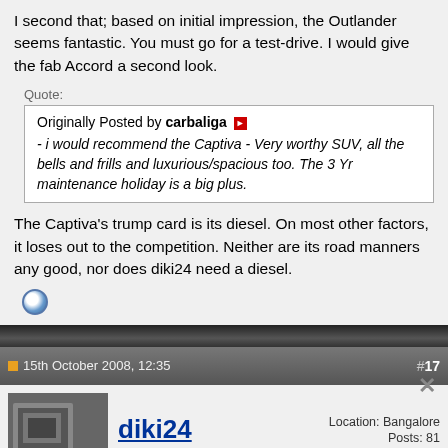I second that; based on initial impression, the Outlander seems fantastic. You must go for a test-drive. I would give the fab Accord a second look.
Quote:
Originally Posted by carbaliga
- i would recommend the Captiva - Very worthy SUV, all the bells and frills and luxurious/spacious too. The 3 Yr maintenance holiday is a big plus.
The Captiva's trump card is its diesel. On most other factors, it loses out to the competition. Neither are its road manners any good, nor does diki24 need a diesel.
15th October 2008, 12:35  #17
diki24
BHPian
Location: Bangalore
Posts: 81
Thanked: 4 Times
Thanks DocG for excellent analysis and thanks Vid6639,